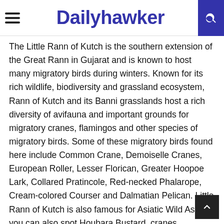Dailyhawker
The Little Rann of Kutch is the southern extension of the Great Rann in Gujarat and is known to host many migratory birds during winters. Known for its rich wildlife, biodiversity and grassland ecosystem, Rann of Kutch and its Banni grasslands host a rich diversity of avifauna and important grounds for migratory cranes, flamingos and other species of migratory birds. Some of these migratory birds found here include Common Crane, Demoiselle Cranes, European Roller, Lesser Florican, Greater Hoopoe Lark, Collared Pratincole, Red-necked Phalarope, Cream-colored Courser and Dalmatian Pelican. Little Rann of Kutch is also famous for Asiatic Wild Ass but you can also spot Houbara Bustard, cranes, Macqueen's Bustard, Sociable Lapwing and reef egrets.
Salim Ali Bird Sanctuary, Goa